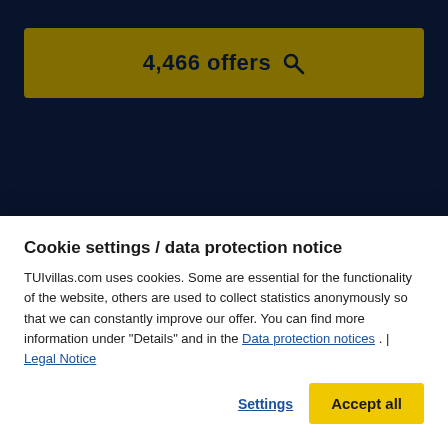4,466 offers
1 SEARCH
2 SEARCH RESULTS
3 PROPERTY
4 BOOKING
5 BOOKING
Holiday houses & apartments on the coast in K...
Cookie settings / data protection notice
TUIvillas.com uses cookies. Some are essential for the functionality of the website, others are used to collect statistics anonymously so that we can constantly improve our offer. You can find more information under "Details" and in the Data protection notices . | Legal Notice
Settings
Accept all